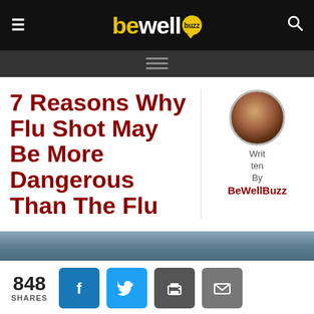≡  bewellbuzz  🔍
7 Reasons Why Flu Shot May Be More Dangerous Than The Flu
Written By BeWellBuzz
[Figure (photo): Circular avatar photo of two people (a man and a woman), used as author profile picture for BeWellBuzz]
848 SHARES
[Figure (infographic): Social share buttons: Facebook (blue), Twitter (cyan), Print (dark gray), Email (gray)]